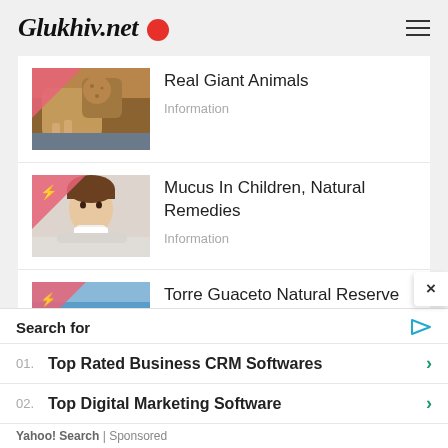Glukhiv.net
[Figure (photo): Photo of a large animal (walrus/seal) close-up with golden-brown coloring]
Real Giant Animals
Information
[Figure (photo): Photo of a child covered with a blanket blowing nose with a tissue]
Mucus In Children, Natural Remedies
Information
[Figure (photo): Photo of a coastal scene with blue sea and sky - Torre Guaceto Natural Reserve]
Torre Guaceto Natural Reserve
Search for
01. Top Rated Business CRM Softwares
02. Top Digital Marketing Software
Yahoo! Search | Sponsored